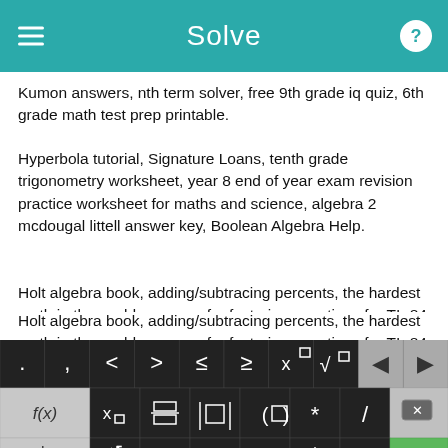Solve
Kumon answers, nth term solver, free 9th grade iq quiz, 6th grade math test prep printable.
Hyperbola tutorial, Signature Loans, tenth grade trigonometry worksheet, year 8 end of year exam revision practice worksheet for maths and science, algebra 2 mcdougal littell answer key, Boolean Algebra Help.
Holt algebra book, adding/subtracing percents, the hardest math in the world, program for factoring equations for TI- 84 Plus Silver Edition...
[Figure (screenshot): On-screen math keyboard with numeric row (1-9,0), symbol row (. , < > ≤ ≥ x^□ √□ backspace forward), function row (f(x), x_□, fraction, absolute value, parentheses, *, /, delete), and bottom row (abc, rotate, x, y, =, +, -, Solve! button)]